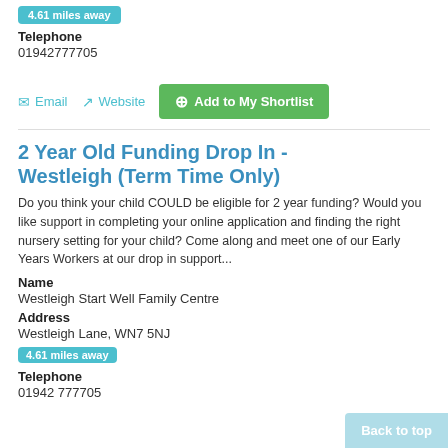4.61 miles away
Telephone
01942777705
Email  Website  Add to My Shortlist
2 Year Old Funding Drop In - Westleigh (Term Time Only)
Do you think your child COULD be eligible for 2 year funding? Would you like support in completing your online application and finding the right nursery setting for your child? Come along and meet one of our Early Years Workers at our drop in support...
Name
Westleigh Start Well Family Centre
Address
Westleigh Lane, WN7 5NJ
4.61 miles away
Telephone
01942 777705